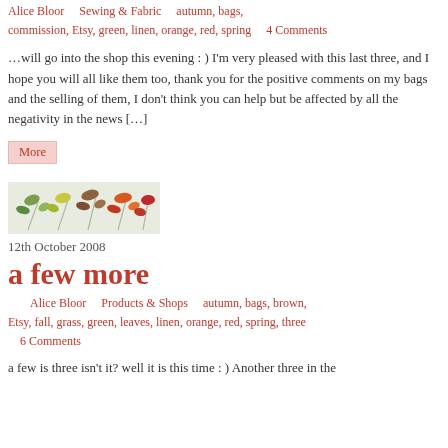Alice Bloor    Sewing & Fabric    autumn, bags, commission, Etsy, green, linen, orange, red, spring    4 Comments
…will go into the shop this evening : ) I'm very pleased with this last three, and I hope you will all like them too, thank you for the positive comments on my bags and the selling of them, I don't think you can help but be affected by all the negativity in the news […]
More
[Figure (photo): Decorative banner image showing illustrated leaves in green, yellow, orange, brown, and red colors on a light background]
12th October 2008
a few more
Alice Bloor    Products & Shops    autumn, bags, brown, Etsy, fall, grass, green, leaves, linen, orange, red, spring, three    6 Comments
a few is three isn't it? well it is this time : ) Another three in the